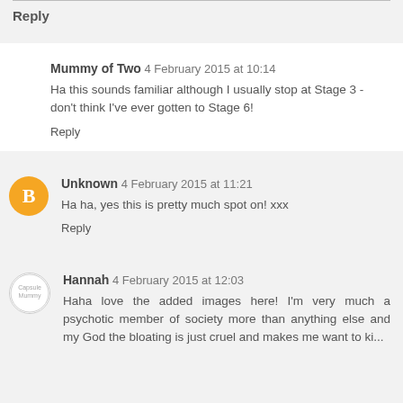Reply
Mummy of Two  4 February 2015 at 10:14
Ha this sounds familiar although I usually stop at Stage 3 - don't think I've ever gotten to Stage 6!
Reply
Unknown  4 February 2015 at 11:21
Ha ha, yes this is pretty much spot on! xxx
Reply
Hannah  4 February 2015 at 12:03
Haha love the added images here! I'm very much a psychotic member of society more than anything else and my God the bloating is just cruel and makes me want to ki...